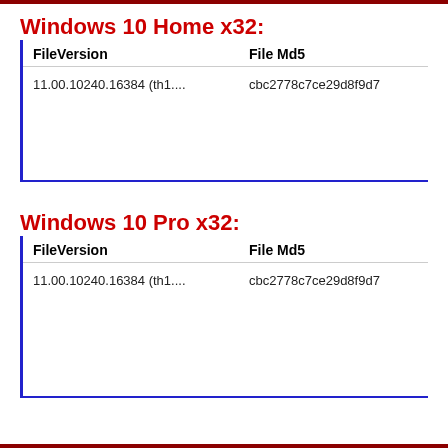Windows 10 Home x32:
| FileVersion | File Md5 |
| --- | --- |
| 11.00.10240.16384 (th1.... | cbc2778c7ce29d8f9d7 |
Windows 10 Pro x32:
| FileVersion | File Md5 |
| --- | --- |
| 11.00.10240.16384 (th1.... | cbc2778c7ce29d8f9d7 |